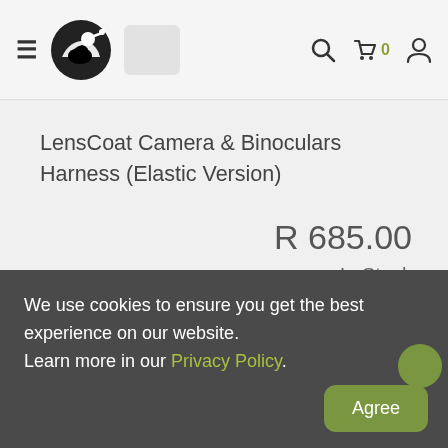Navigation bar with hamburger menu, logo, search, cart (0), and user icons
LensCoat Camera & Binoculars Harness (Elastic Version)
R 685.00
In Stock
Add to Cart
We use cookies to ensure you get the best experience on our website. Learn more in our Privacy Policy.
Agree